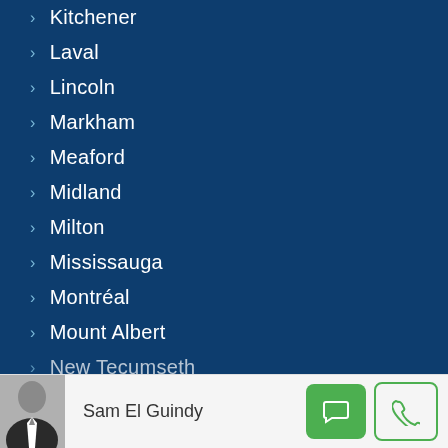Kitchener
Laval
Lincoln
Markham
Meaford
Midland
Milton
Mississauga
Montréal
Mount Albert
New Tecumseth
Sam El Guindy